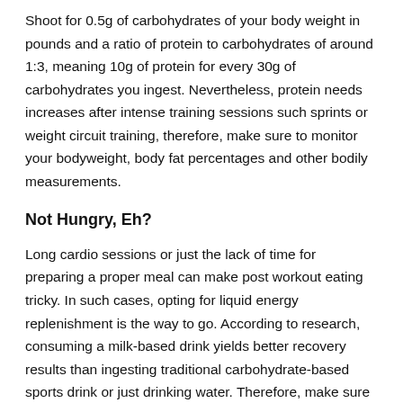Shoot for 0.5g of carbohydrates of your body weight in pounds and a ratio of protein to carbohydrates of around 1:3, meaning 10g of protein for every 30g of carbohydrates you ingest. Nevertheless, protein needs increases after intense training sessions such sprints or weight circuit training, therefore, make sure to monitor your bodyweight, body fat percentages and other bodily measurements.
Not Hungry, Eh?
Long cardio sessions or just the lack of time for preparing a proper meal can make post workout eating tricky. In such cases, opting for liquid energy replenishment is the way to go. According to research, consuming a milk-based drink yields better recovery results than ingesting traditional carbohydrate-based sports drink or just drinking water. Therefore, make sure to add the milk-shake to your post-workout diet menu.